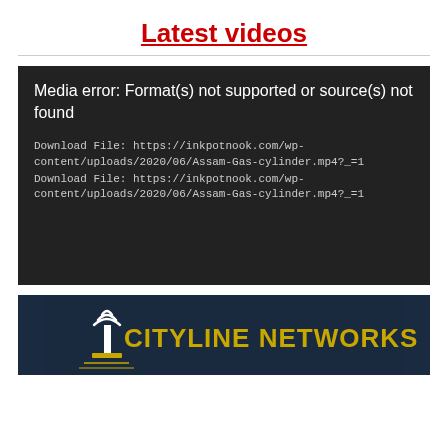Latest videos
[Figure (screenshot): Media player error screen with dark background showing: 'Media error: Format(s) not supported or source(s) not found' and two download file links: https://inkpotnook.com/wp-content/uploads/2020/06/Assam-Gas-cylinder.mp4?_=1]
[Figure (logo): Cityline Networks logo with antenna tower icon and yellow text on dark blue background]